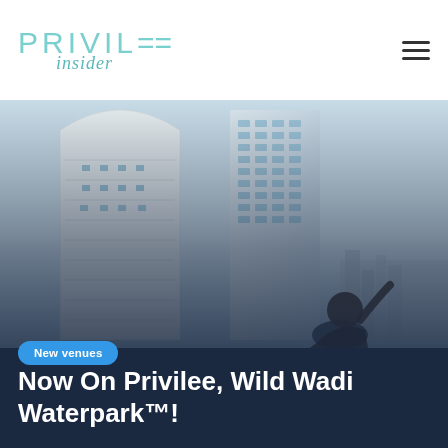PRIVILEE insider
[Figure (photo): Aerial/rooftop view of Burj Al Arab and a modern skyscraper in Dubai, with a person visible in the foreground near a pool or water feature.]
Now On Privilee, Wild Wadi Waterpark™!
New venues